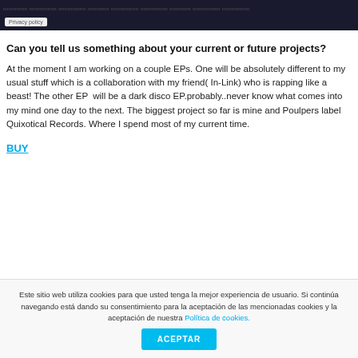[Figure (photo): Dark background image with small text overlay and a 'Privacy policy' label in the bottom-left corner]
Can you tell us something about your current or future projects?
At the moment I am working on a couple EPs. One will be absolutely different to my usual stuff which is a collaboration with my friend( In-Link) who is rapping like a beast! The other EP  will be a dark disco EP.probably..never know what comes into my mind one day to the next. The biggest project so far is mine and Poulpers label Quixotical Records. Where I spend most of my current time.
BUY
Este sitio web utiliza cookies para que usted tenga la mejor experiencia de usuario. Si continúa navegando está dando su consentimiento para la aceptación de las mencionadas cookies y la aceptación de nuestra Política de cookies.